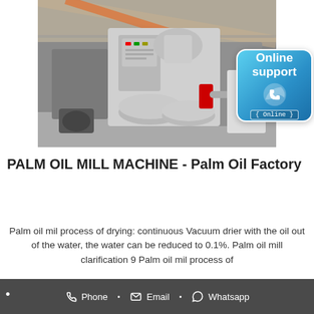[Figure (photo): Industrial palm oil press machine in a factory/warehouse setting. Large grey mechanical press with mixing bowls and motor visible. Factory interior with steel beams and equipment in background.]
[Figure (infographic): Blue rounded-square Online support badge with phone icon and text 'Online support' and '{ Online }' label]
PALM OIL MILL MACHINE - Palm Oil Factory
Palm oil mil process of drying: continuous Vacuum drier with the oil out of the water, the water can be reduced to 0.1%. Palm oil mill clarification 9 Palm oil mil process of
Phone • Email • Whatsapp